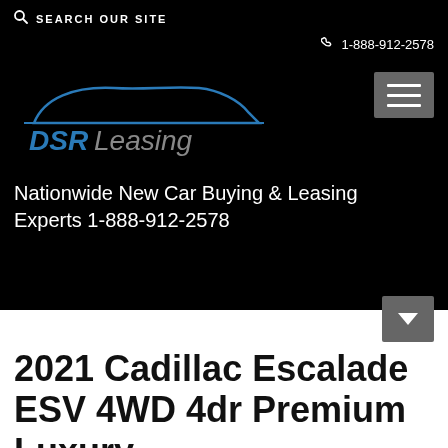SEARCH OUR SITE
1-888-912-2578
[Figure (logo): DSR Leasing logo with car silhouette outline in blue, text DSR in blue and Leasing in gray italic]
Nationwide New Car Buying & Leasing Experts 1-888-912-2578
2021 Cadillac Escalade ESV 4WD 4dr Premium Luxury lease $1199 Mo...